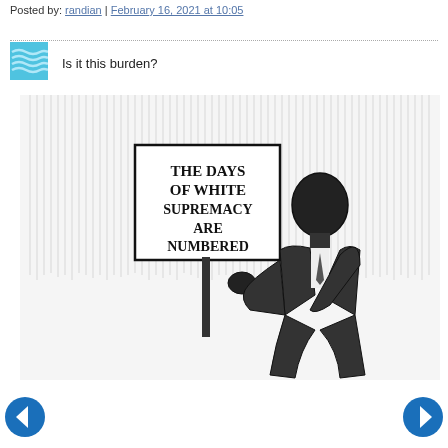Posted by: randian | February 16, 2021 at 10:05
[Figure (illustration): Black-and-white editorial cartoon of a Black man in a suit holding a sign that reads 'THE DAYS OF WHITE SUPREMACY ARE NUMBERED', with a figure below him. Hatched background lines fill the upper portion.]
[Figure (illustration): Left navigation arrow button (blue circle with white left arrow)]
[Figure (illustration): Right navigation arrow button (blue circle with white right arrow)]